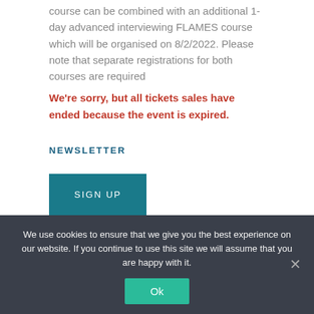course can be combined with an additional 1-day advanced interviewing FLAMES course which will be organised on 8/2/2022. Please note that separate registrations for both courses are required
We're sorry, but all tickets sales have ended because the event is expired.
NEWSLETTER
SIGN UP
We use cookies to ensure that we give you the best experience on our website. If you continue to use this site we will assume that you are happy with it.
Ok